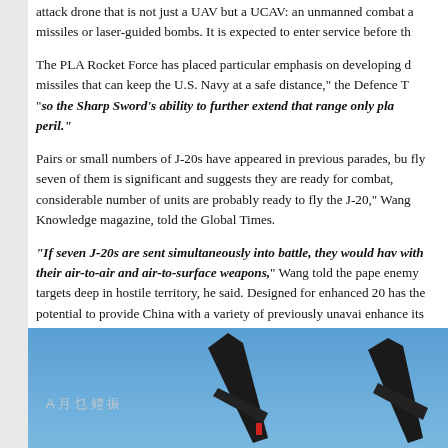attack drone that is not just a UAV but a UCAV: an unmanned combat a missiles or laser-guided bombs. It is expected to enter service before th
The PLA Rocket Force has placed particular emphasis on developing d missiles that can keep the U.S. Navy at a safe distance," the Defence T "so the Sharp Sword’s ability to further extend that range only pla peril."
Pairs or small numbers of J-20s have appeared in previous parades, bu fly seven of them is significant and suggests they are ready for combat, considerable number of units are probably ready to fly the J-20," Wang Knowledge magazine, told the Global Times.
“If seven J-20s are sent simultaneously into battle, they would hav with their air-to-air and air-to-surface weapons," Wang told the pape enemy targets deep in hostile territory, he said. Designed for enhanced 20 has the potential to provide China with a variety of previously unavai enhance its capability to project China’s air power.
[Figure (photo): Photograph of dark aircraft silhouettes (likely J-20 stealth fighters) against a blue sky background, with Chinese characters visible in the lower left area of the image.]